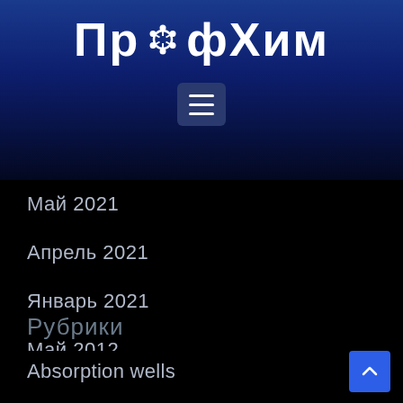[Figure (logo): ПрофХим logo with molecular structure icon replacing the 'о' character, white text on blue gradient background]
[Figure (other): Hamburger menu icon (three horizontal lines) in a dark blue rounded square button]
Май 2021
Апрель 2021
Январь 2021
Май 2012
Май 2010
Рубрики
Absorption wells
Adults